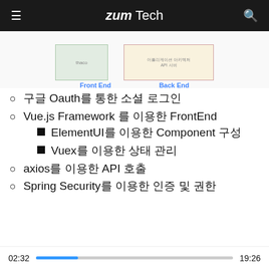zum Tech
[Figure (illustration): Partial view of Front End and Back End architecture cards/diagrams with labels 'Front End' and 'Back End' in blue]
구글 Oauth를 통한 소셜 로그인
Vue.js Framework 를 이용한 FrontEnd
ElementUI를 이용한 Component 구성
Vuex를 이용한 상태 관리
axios를 이용한 API 호출
Spring Security를 이용한 인증 및 권한
02:32  19:26